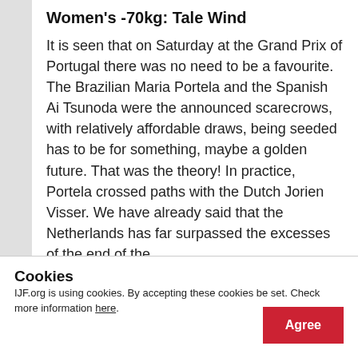Women's -70kg: Tale Wind
It is seen that on Saturday at the Grand Prix of Portugal there was no need to be a favourite. The Brazilian Maria Portela and the Spanish Ai Tsunoda were the announced scarecrows, with relatively affordable draws, being seeded has to be for something, maybe a golden future. That was the theory! In practice, Portela crossed paths with the Dutch Jorien Visser. We have already said that the Netherlands has far surpassed the excesses of the end of the
Cookies
IJF.org is using cookies. By accepting these cookies be set. Check more information here.